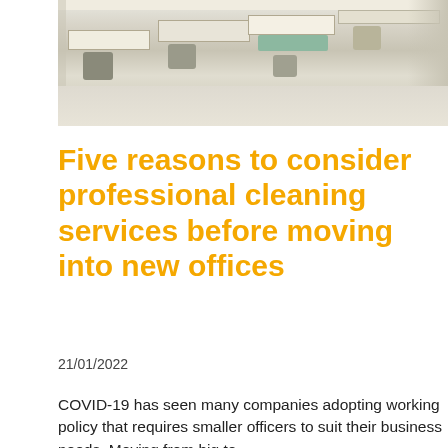[Figure (photo): Interior photo of a modern open-plan office with white desks, chairs, and a light-colored floor. The image is cropped at the top edge of the page.]
Five reasons to consider professional cleaning services before moving into new offices
21/01/2022
COVID-19 has seen many companies adopting working policy that requires smaller officers to suit their business needs. Moving from big to